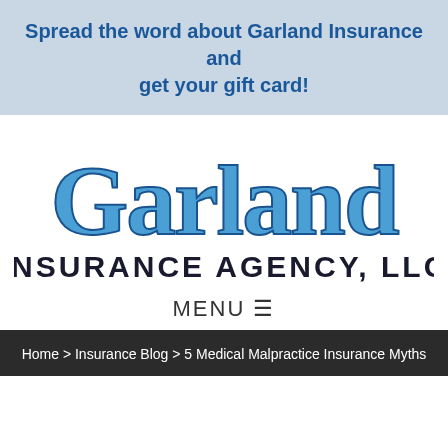Spread the word about Garland Insurance and get your gift card!
[Figure (logo): Garland Insurance Agency, LLC logo with large blue stylized 'Garland' text and bold dark 'INSURANCE AGENCY, LLC' below]
MENU ☰
Home > Insurance Blog > 5 Medical Malpractice Insurance Myths